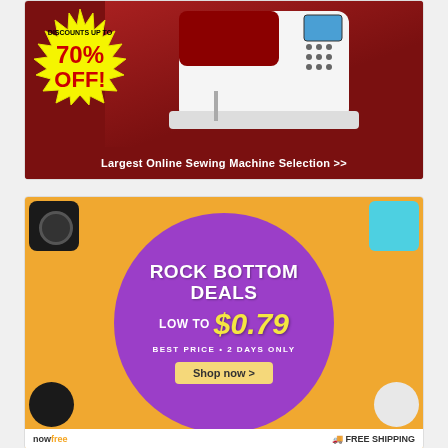[Figure (advertisement): Sewing machine advertisement with a dark red background, yellow starburst showing 'DISCOUNTS UP TO 70% OFF!' in red, a white sewing machine on the right, and a bottom banner reading 'Largest Online Sewing Machine Selection >>']
[Figure (advertisement): Electronics deals advertisement with orange background, gadgets (camera, phone, coffee cup, buttons) around edges, a large purple circle in the center with white text 'ROCK BOTTOM DEALS', yellow text 'LOW TO $0.79', white text 'BEST PRICE • 2 DAYS ONLY', a yellow 'Shop now >' button, and footer showing 'nowfree' logo and 'FREE SHIPPING']